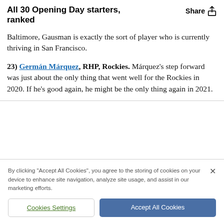All 30 Opening Day starters, ranked
Baltimore, Gausman is exactly the sort of player who is currently thriving in San Francisco.
23) Germán Márquez, RHP, Rockies. Márquez's step forward was just about the only thing that went well for the Rockies in 2020. If he's good again, he might be the only thing again in 2021.
By clicking "Accept All Cookies", you agree to the storing of cookies on your device to enhance site navigation, analyze site usage, and assist in our marketing efforts.
Cookies Settings
Accept All Cookies